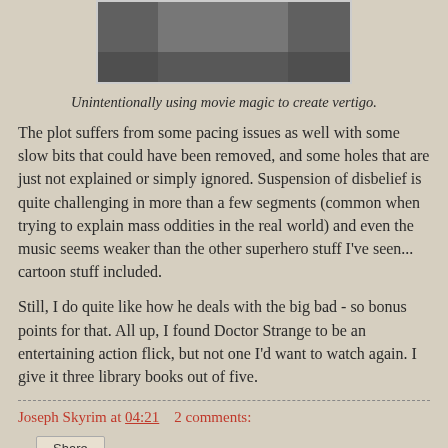[Figure (photo): Top portion of a movie screenshot (partially visible), appears to be from Doctor Strange film]
Unintentionally using movie magic to create vertigo.
The plot suffers from some pacing issues as well with some slow bits that could have been removed, and some holes that are just not explained or simply ignored. Suspension of disbelief is quite challenging in more than a few segments (common when trying to explain mass oddities in the real world) and even the music seems weaker than the other superhero stuff I've seen... cartoon stuff included.
Still, I do quite like how he deals with the big bad - so bonus points for that. All up, I found Doctor Strange to be an entertaining action flick, but not one I'd want to watch again. I give it three library books out of five.
Joseph Skyrim at 04:21    2 comments:
Share